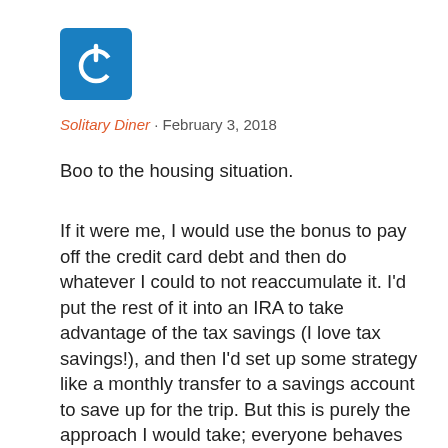[Figure (logo): Blue square logo with a white power/on symbol (circle with vertical line at top)]
Solitary Diner · February 3, 2018
Boo to the housing situation.
If it were me, I would use the bonus to pay off the credit card debt and then do whatever I could to not reaccumulate it. I'd put the rest of it into an IRA to take advantage of the tax savings (I love tax savings!), and then I'd set up some strategy like a monthly transfer to a savings account to save up for the trip. But this is purely the approach I would take; everyone behaves differently when it comes with finances. I'd suggest looking at your past financial habits and, based on the good and